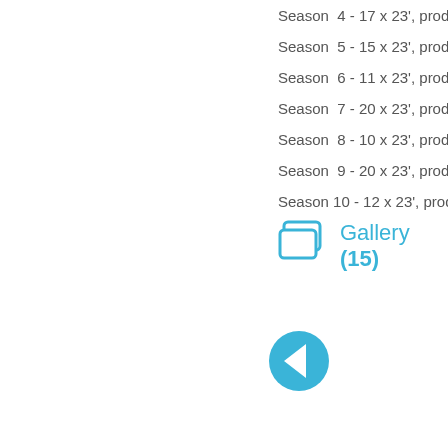Season  4 - 17 x 23', produc…
Season  5 - 15 x 23', produc…
Season  6 - 11 x 23', produc…
Season  7 - 20 x 23', produc…
Season  8 - 10 x 23', produc…
Season  9 - 20 x 23', produc…
Season 10 - 12 x 23', produc…
Gallery (15)
[Figure (other): Back/previous navigation button arrow circle icon in cyan/blue]